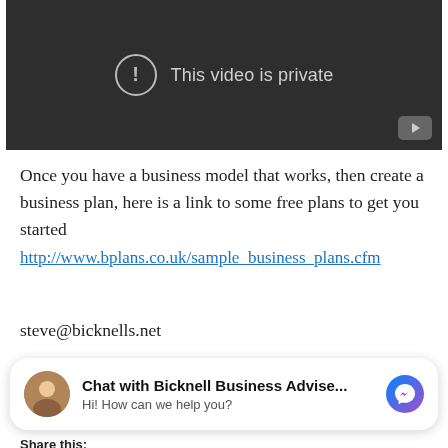[Figure (screenshot): Video player showing 'This video is private' message with exclamation icon and YouTube button]
Once you have a business model that works, then create a business plan, here is a link to some free plans to get you started http://www.bplans.co.uk/sample_business_plans.cfm
steve@bicknells.net
[Figure (screenshot): Chat widget: Chat with Bicknell Business Advise... Hi! How can we help you? with Messenger icon]
Share this: